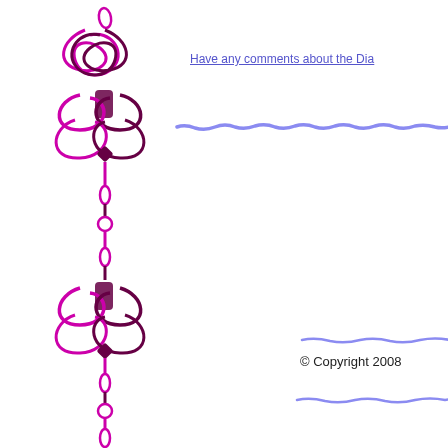[Figure (illustration): Decorative vertical ornamental border on the left side of the page, featuring interlocking loops and knot-work in magenta/pink and dark purple colors, repeated vertically.]
Have any comments about the Dia
[Figure (other): Horizontal blue sketchy/hand-drawn decorative line near the top right area of the page.]
[Figure (other): Horizontal blue sketchy/hand-drawn decorative line in the lower middle-right area of the page.]
© Copyright 2008
[Figure (other): Horizontal blue sketchy/hand-drawn decorative line at the bottom right area of the page.]